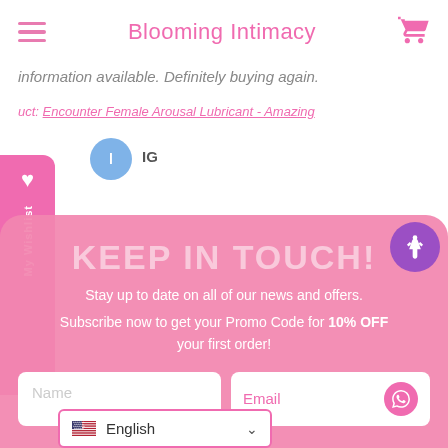Blooming Intimacy
information available. Definitely buying again.
uct: Encounter Female Arousal Lubricant - Amazing
IG
KEEP IN TOUCH!
Stay up to date on all of our news and offers.
Subscribe now to get your Promo Code for 10% OFF your first order!
Name
Email
English